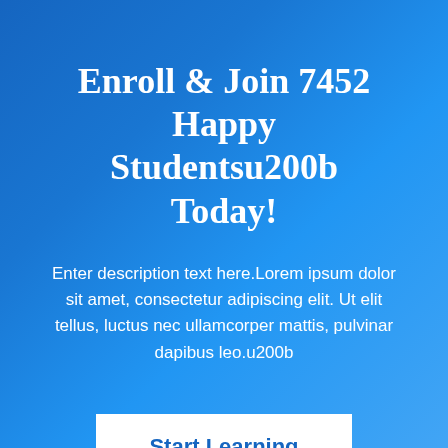Enroll & Join 7452 Happy Studentsu200b Today!
Enter description text here.Lorem ipsum dolor sit amet, consectetur adipiscing elit. Ut elit tellus, luctus nec ullamcorper mattis, pulvinar dapibus leo.u200b
[Figure (other): White rectangle button with blue bold text 'Start Learning']
Copyright u00a9 2022 ActiveLinkPro